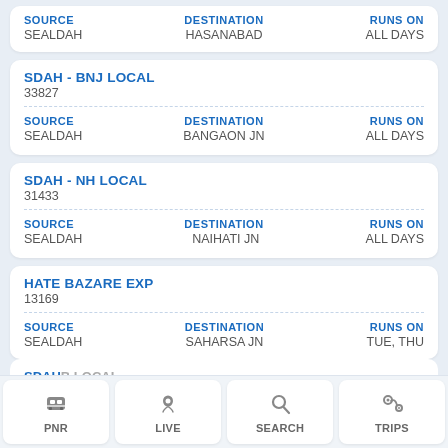| SOURCE | DESTINATION | RUNS ON |
| --- | --- | --- |
| SEALDAH | HASANABAD | ALL DAYS |
SDAH - BNJ LOCAL
33827
| SOURCE | DESTINATION | RUNS ON |
| --- | --- | --- |
| SEALDAH | BANGAON JN | ALL DAYS |
SDAH - NH LOCAL
31433
| SOURCE | DESTINATION | RUNS ON |
| --- | --- | --- |
| SEALDAH | NAIHATI JN | ALL DAYS |
HATE BAZARE EXP
13169
| SOURCE | DESTINATION | RUNS ON |
| --- | --- | --- |
| SEALDAH | SAHARSA JN | TUE, THU |